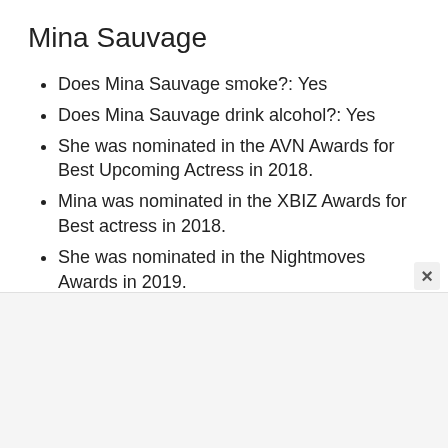Mina Sauvage
Does Mina Sauvage smoke?: Yes
Does Mina Sauvage drink alcohol?: Yes
She was nominated in the AVN Awards for Best Upcoming Actress in 2018.
Mina was nominated in the XBIZ Awards for Best actress in 2018.
She was nominated in the Nightmoves Awards in 2019.
You Get More Celebrities Information Stay On Wikistarbio